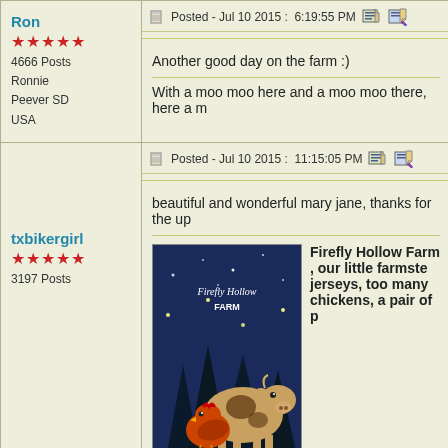Ron
★★★★★
4666 Posts
Ronnie
Peever SD
USA
Posted - Jul 10 2015 :  6:19:55 PM
Another good day on the farm :)
With a moo moo here and a moo moo there, here a m...
txbikergirl
★★★★★
3197 Posts
Posted - Jul 10 2015 :  11:15:05 PM
beautiful and wonderful mary jane, thanks for the up...
[Figure (photo): Firefly Hollow Farm logo/sign with cows and chickens illustration on dark blue background]
Firefly Hollow Farm , our little farmste... jerseys, too many chickens, a pair of p...